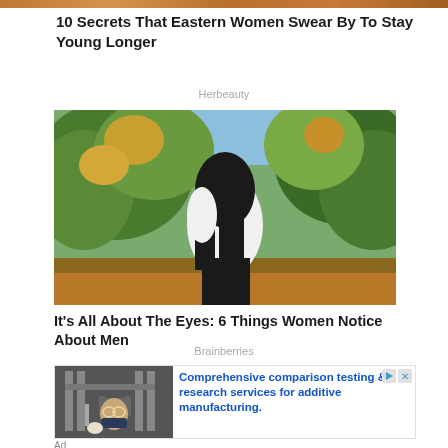[Figure (photo): Cropped top strip of a photo showing warm earthy tones, partially visible]
10 Secrets That Eastern Women Swear By To Stay Young Longer
Herbeauty
[Figure (photo): A woman with long dark hair wearing a white top, standing among green and yellow autumn trees outdoors, viewed from behind/side]
It's All About The Eyes: 6 Things Women Notice About Men
Brainberries
[Figure (photo): Advertisement image showing a person in lab coat and mask working with machinery/equipment for additive manufacturing testing]
Comprehensive comparison testing & research services for additive manufacturing.
Ad